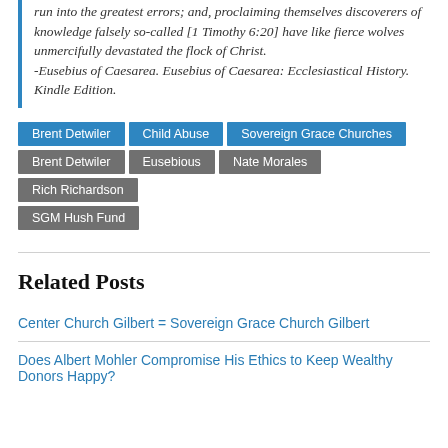run into the greatest errors; and, proclaiming themselves discoverers of knowledge falsely so-called [1 Timothy 6:20] have like fierce wolves unmercifully devastated the flock of Christ. -Eusebius of Caesarea. Eusebius of Caesarea: Ecclesiastical History. Kindle Edition.
Brent Detwiler | Child Abuse | Sovereign Grace Churches | Brent Detwiler | Eusebious | Nate Morales | Rich Richardson | SGM Hush Fund
Related Posts
Center Church Gilbert = Sovereign Grace Church Gilbert
Does Albert Mohler Compromise His Ethics to Keep Wealthy Donors Happy?